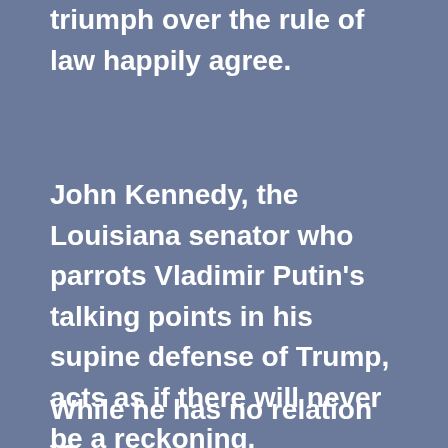triumph over the rule of law happily agree.
John Kennedy, the Louisiana senator who parrots Vladimir Putin's talking points in his supine defense of Trump, acts as if there will never be a reckoning.
While he has no relation to the president, he has a